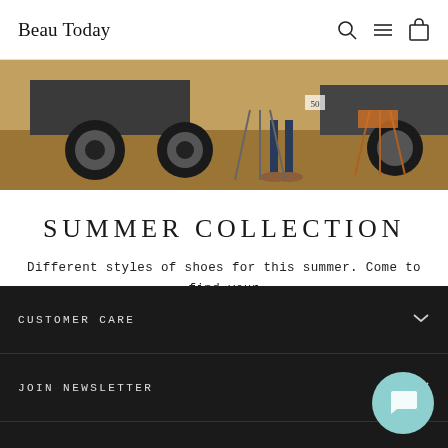Beau Today
[Figure (photo): Outdoor scene with large vehicle tires and a person walking with sandals on dusty ground with metal chairs.]
SUMMER COLLECTION
Different styles of shoes for this summer. Come to find your faves from Beau Today now.
FIND MY STYLE
CUSTOMER CARE
JOIN NEWSLETTER